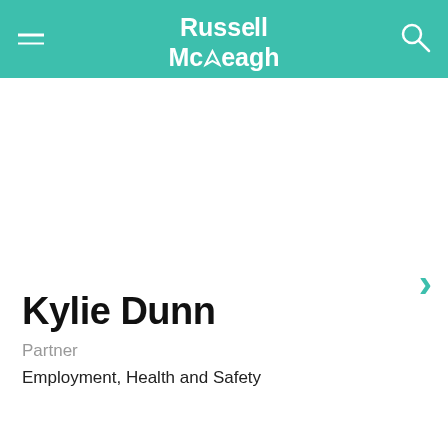Russell McVeagh
[Figure (logo): Russell McVeagh law firm logo in white text on teal/green background with hamburger menu icon on left and search icon on right]
Kylie Dunn
Partner
Employment, Health and Safety